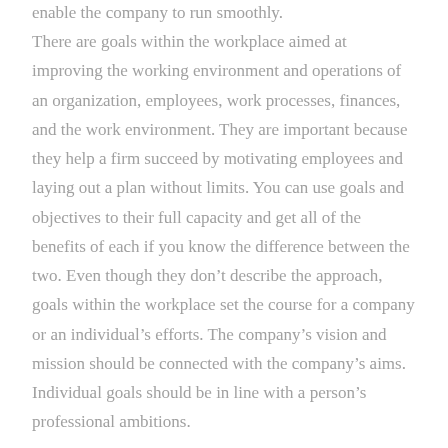enable the company to run smoothly. There are goals within the workplace aimed at improving the working environment and operations of an organization, employees, work processes, finances, and the work environment. They are important because they help a firm succeed by motivating employees and laying out a plan without limits. You can use goals and objectives to their full capacity and get all of the benefits of each if you know the difference between the two. Even though they don't describe the approach, goals within the workplace set the course for a company or an individual's efforts. The company's vision and mission should be connected with the company's aims. Individual goals should be in line with a person's professional ambitions.